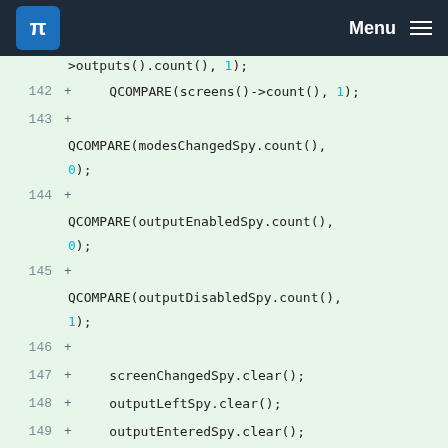KDE Menu
>outputs().count(), 1);
142 +     QCOMPARE(screens()->count(), 1);
143 + QCOMPARE(modesChangedSpy.count(), 0);
144 + QCOMPARE(outputEnabledSpy.count(), 0);
145 + QCOMPARE(outputDisabledSpy.count(), 1);
146 +
147 +     screenChangedSpy.clear();
148 +     outputLeftSpy.clear();
149 +     outputEnteredSpy.clear();
150 + outputDeviceEnabledChangedSpy.clear();
151 +     outputEnabledSpy.clear();
152 +     outputDisabledSpy.clear();